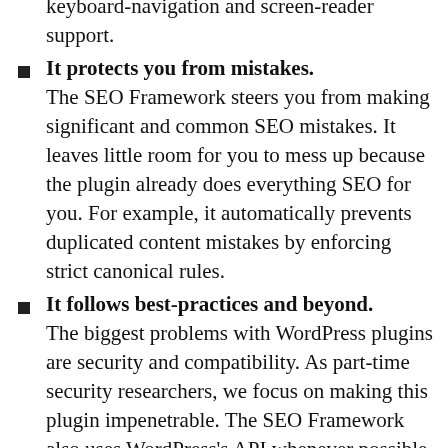keyboard-navigation and screen-reader support.
It protects you from mistakes. The SEO Framework steers you from making significant and common SEO mistakes. It leaves little room for you to mess up because the plugin already does everything SEO for you. For example, it automatically prevents duplicated content mistakes by enforcing strict canonical rules.
It follows best-practices and beyond. The biggest problems with WordPress plugins are security and compatibility. As part-time security researchers, we focus on making this plugin impenetrable. The SEO Framework also uses WordPress's API whenever possible, making this plugin integrate neatly with every other plugin written with that in mind.
It has developers at heart. We encourage other developers to enhance and